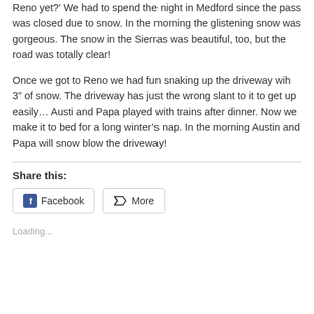Reno yet?' We had to spend the night in Medford since the pass was closed due to snow. In the morning the glistening snow was gorgeous. The snow in the Sierras was beautiful, too, but the road was totally clear!
Once we got to Reno we had fun snaking up the driveway wih 3” of snow. The driveway has just the wrong slant to it to get up easily… Austi and Papa played with trains after dinner. Now we make it to bed for a long winter’s nap. In the morning Austin and Papa will snow blow the driveway!
Share this:
Facebook   More
Loading...